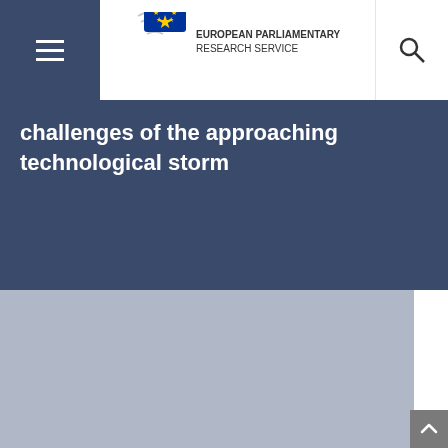European Parliamentary Research Service
challenges of the approaching technological storm
[Figure (other): Gray content area placeholder]
[Figure (other): Scroll to top button]